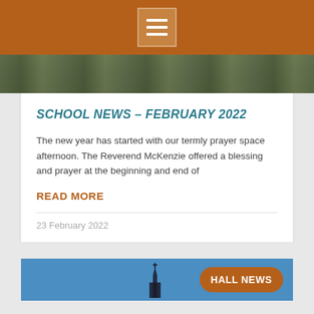[Figure (screenshot): Top navigation bar with brown/orange background and hamburger menu icon]
[Figure (photo): Photo strip showing an outdoor scene with gates and stone buildings]
SCHOOL NEWS – FEBRUARY 2022
The new year has started with our termly prayer space afternoon. The Reverend McKenzie offered a blessing and prayer at the beginning and end of
READ MORE
23 February 2022
[Figure (screenshot): Bottom card with blue background showing church silhouette and Hall News button with brown rounded rectangle]